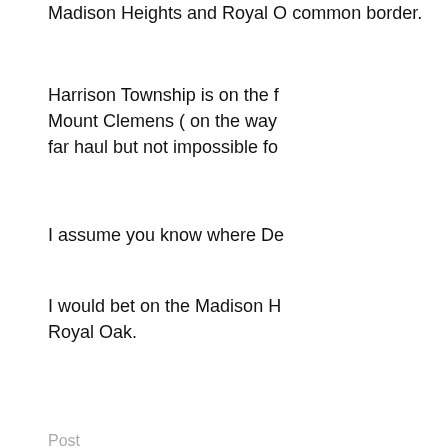Madison Heights and Royal O common border.
Harrison Township is on the f Mount Clemens ( on the way far haul but not impossible fo
I assume you know where De
I would bet on the Madison H Royal Oak.
Post
[Figure (illustration): User avatar icon with blue geometric web/sphere pattern on white background]
TS9
My working theory is that the ex page or someone he know
The hire date is only importan the SOS blogger
The proto bar located in Roya for the HRC hire associated w
So for him to suggest that loc Oak.